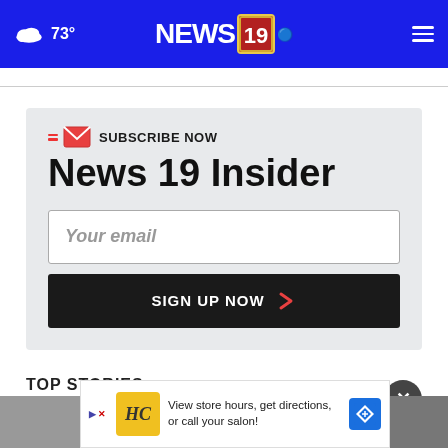73° NEWS 19
SUBSCRIBE NOW
News 19 Insider
Your email
SIGN UP NOW
TOP STORIES
[Figure (screenshot): Advertisement banner: HC logo, 'View store hours, get directions, or call your salon!' with play/directions icons]
[Figure (photo): Partial blurred news story image at bottom of page]